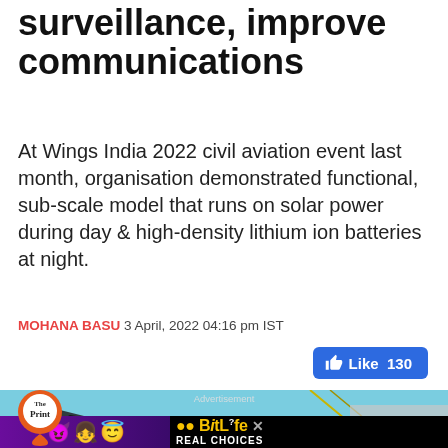surveillance, improve communications
At Wings India 2022 civil aviation event last month, organisation demonstrated functional, sub-scale model that runs on solar power during day & high-density lithium ion batteries at night.
MOHANA BASU 3 April, 2022 04:16 pm IST
[Figure (screenshot): Facebook Like button showing 130 likes, blue rounded rectangle button]
[Figure (photo): Photo of aircraft/drone model at Wings India 2022, with The Print logo overlay, and advertisement banner showing BitLife game ad with emoji characters and 'Real Choices' text]